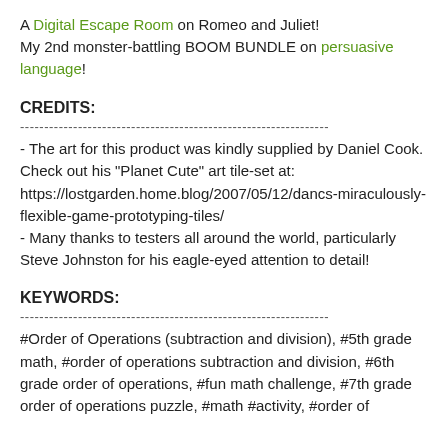A Digital Escape Room on Romeo and Juliet! My 2nd monster-battling BOOM BUNDLE on persuasive language!
CREDITS:
----------------------------------------------------------------
- The art for this product was kindly supplied by Daniel Cook. Check out his "Planet Cute" art tile-set at: https://lostgarden.home.blog/2007/05/12/dancs-miraculously-flexible-game-prototyping-tiles/
- Many thanks to testers all around the world, particularly Steve Johnston for his eagle-eyed attention to detail!
KEYWORDS:
----------------------------------------------------------------
#Order of Operations (subtraction and division), #5th grade math, #order of operations subtraction and division, #6th grade order of operations, #fun math challenge, #7th grade order of operations puzzle, #math #activity, #order of operations, #order, #th a+b...